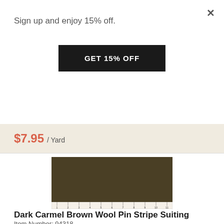Sign up and enjoy 15% off.
GET 15% OFF
$7.95 / Yard
[Figure (photo): Dark brown/olive fabric swatch shown as a square with a ruler beneath it marked 1 through 11 inches.]
Dark Carmel Brown Wool Pin Stripe Suiting
Item Number: 94318